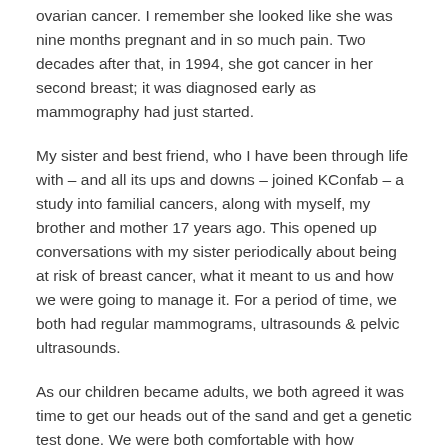ovarian cancer. I remember she looked like she was nine months pregnant and in so much pain. Two decades after that, in 1994, she got cancer in her second breast; it was diagnosed early as mammography had just started.
My sister and best friend, who I have been through life with – and all its ups and downs – joined KConfab – a study into familial cancers, along with myself, my brother and mother 17 years ago. This opened up conversations with my sister periodically about being at risk of breast cancer, what it meant to us and how we were going to manage it. For a period of time, we both had regular mammograms, ultrasounds & pelvic ultrasounds.
As our children became adults, we both agreed it was time to get our heads out of the sand and get a genetic test done. We were both comfortable with how treatment options had progressed and the worst-case scenario for